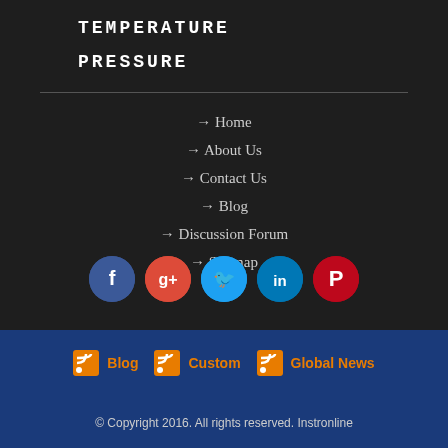TEMPERATURE
PRESSURE
→ Home
→ About Us
→ Contact Us
→ Blog
→ Discussion Forum
→ Sitemap
[Figure (infographic): Social media icons: Facebook, Google+, Twitter, LinkedIn, Pinterest]
[Figure (infographic): RSS feed links: Blog, Custom, Global News]
© Copyright 2016. All rights reserved. Instronline